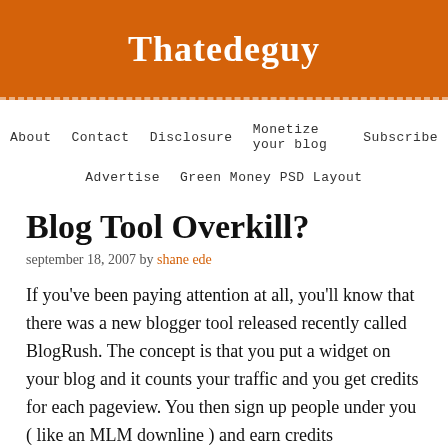Thatedeguy
About   Contact   Disclosure   Monetize your blog   Subscribe   Advertise   Green Money PSD Layout
Blog Tool Overkill?
september 18, 2007 by shane ede
If you've been paying attention at all, you'll know that there was a new blogger tool released recently called BlogRush. The concept is that you put a widget on your blog and it counts your traffic and you get credits for each pageview. You then sign up people under you ( like an MLM downline ) and earn credits